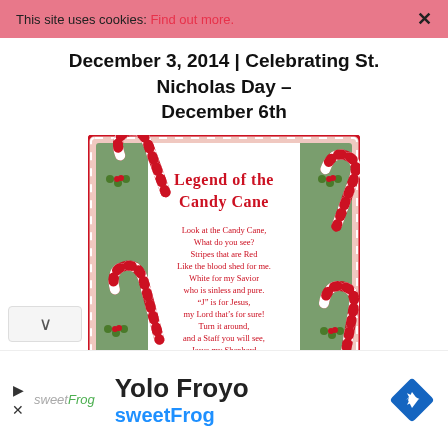This site uses cookies: Find out more.
December 3, 2014 | Celebrating St. Nicholas Day – December 6th
[Figure (illustration): Decorative card titled 'Legend of the Candy Cane' with candy cane illustrations and holly on a green and white background. Contains a poem: Look at the Candy Cane, What do you see? Stripes that are Red Like the blood shed for me. White for my Savior who is sinless and pure. "J" is for Jesus, my Lord that's for sure! Turn it around, and a Staff you will see, Jesus my Shepherd was born for me. -Author Unknown]
Yolo Froyo
sweetFrog